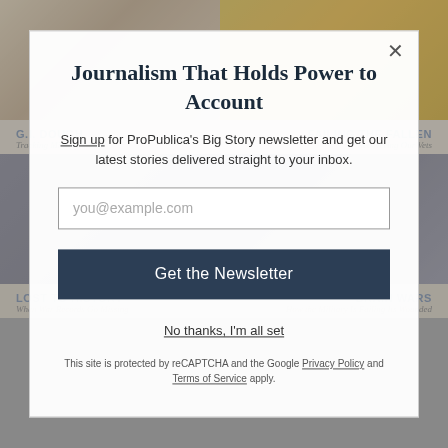[Figure (screenshot): Background page showing ProPublica website with article thumbnails and section headers including G.I. DOUGH, FAILING THE FALLEN, LOST TO HISTORY, BRAIN WARS]
Journalism That Holds Power to Account
Sign up for ProPublica's Big Story newsletter and get our latest stories delivered straight to your inbox.
you@example.com
Get the Newsletter
No thanks, I'm all set
This site is protected by reCAPTCHA and the Google Privacy Policy and Terms of Service apply.